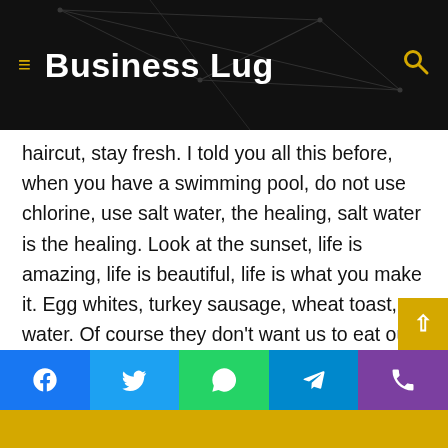Business Lug
haircut, stay fresh. I told you all this before, when you have a swimming pool, do not use chlorine, use salt water, the healing, salt water is the healing. Look at the sunset, life is amazing, life is beautiful, life is what you make it. Egg whites, turkey sausage, wheat toast, water. Of course they don't want us to eat our breakfast, so we are going to enjoy our breakfast.
Major key, don't fall for the trap, stay focused. It's the ones closest to you that want to see you fail. Another one. It's important to use cocoa butter. It's the key to more success, why not live smooth? Why live rough? The key to success is to keep your head above the water, never give up. Watch you
Social share bar: Facebook, Twitter, WhatsApp, Telegram, Phone